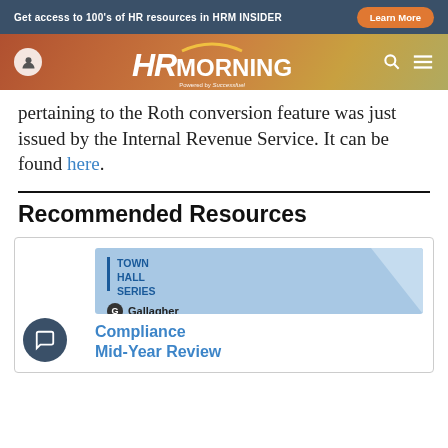Get access to 100's of HR resources in HRM INSIDER  Learn More
[Figure (logo): HR Morning logo with navigation bar on gradient background]
pertaining to the Roth conversion feature was just issued by the Internal Revenue Service. It can be found here.
Recommended Resources
[Figure (illustration): Resource card for Compliance Mid-Year Review webinar by Gallagher, Town Hall Series branding with blue card image]